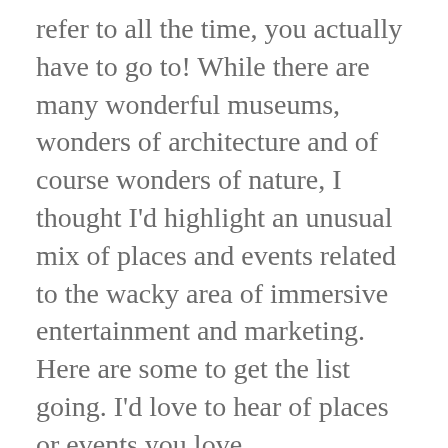refer to all the time, you actually have to go to! While there are many wonderful museums, wonders of architecture and of course wonders of nature, I thought I'd highlight an unusual mix of places and events related to the wacky area of immersive entertainment and marketing. Here are some to get the list going. I'd love to hear of places or events you love.
BMW Event and Delivery Center
Now this may seem like a weird item to include in such a list, but I have my reasons. A few years ago, BMW